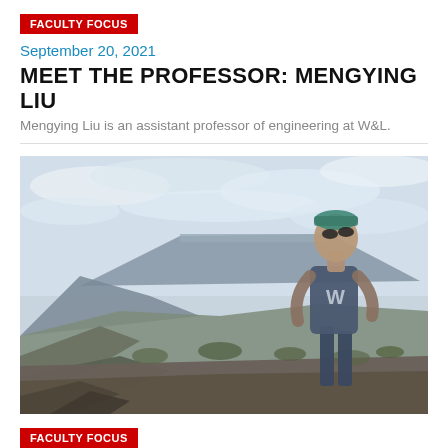FACULTY FOCUS
September 20, 2021
MEET THE PROFESSOR: MENGYING LIU
Mengying Liu is an assistant professor of engineering at W&L.
[Figure (photo): Person wearing a tank top with W&L logo standing on a rocky overlook, looking out over a dramatic desert mountain landscape with flat-topped mesas and cloudy sky.]
FACULTY FOCUS